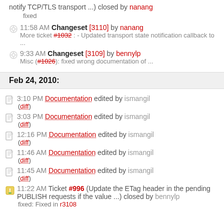notify TCP/TLS transport ...) closed by nanang
fixed
11:58 AM Changeset [3110] by nanang - More ticket #1032 : - Updated transport state notification callback to ...
9:33 AM Changeset [3109] by bennylp - Misc (#1026): fixed wrong documentation of ...
Feb 24, 2010:
3:10 PM Documentation edited by ismangil (diff)
3:03 PM Documentation edited by ismangil (diff)
12:16 PM Documentation edited by ismangil (diff)
11:46 AM Documentation edited by ismangil (diff)
11:45 AM Documentation edited by ismangil (diff)
11:22 AM Ticket #996 (Update the ETag header in the pending PUBLISH requests if the value ...) closed by bennylp
fixed: Fixed in r3108